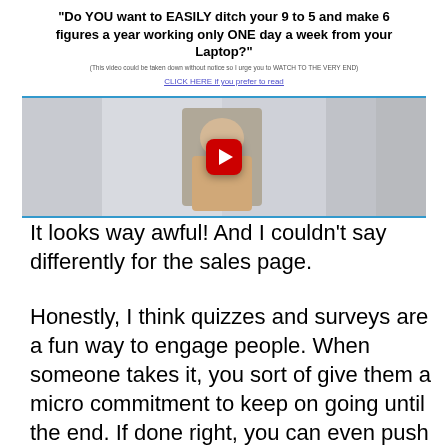[Figure (screenshot): Screenshot of a sales/marketing webpage with bold headline asking 'Do YOU want to EASILY ditch your 9 to 5 and make 6 figures a year working only ONE day a week from your Laptop?' with a small disclaimer line, a CLICK HERE link, and an embedded YouTube-style video thumbnail showing a person holding money with a red play button.]
It looks way awful! And I couldn't say differently for the sales page.
Honestly, I think quizzes and surveys are a fun way to engage people. When someone takes it, you sort of give them a micro commitment to keep on going until the end. If done right, you can even push them to